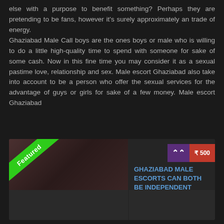else with a purpose to benefit something? Perhaps they are pretending to be fans, however it's surely approximately an trade of energy. Ghaziabad Male Call boys are the ones boys or male who is willing to do a little high-quality time to spend with someone for sake of some cash. Now in this fine time you may consider it as a sexual pastime love, relationship and sex. Male escort Ghaziabad also take into account to be a person who offer the sexual services for the advantage of guys or girls for sake of a few money. Male escort Ghaziabad
[Figure (other): Card with Featured ribbon, image thumbnail, price badge showing 500, and title text about Ghaziabad Male Escorts]